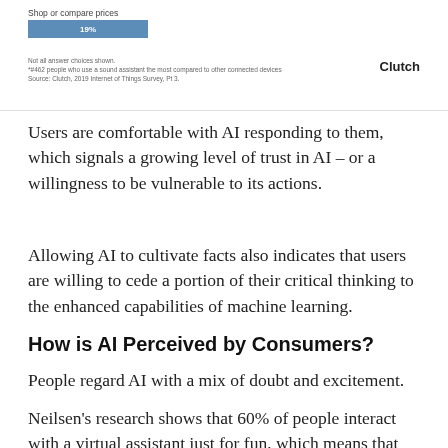[Figure (bar-chart): Shop or compare prices]
Not all answers choices shown.
*#462 people who use a sound assistant the most compared to other connected devices
Source: Clutch, 2019 Internet of Things Survey, Pt 3.
Users are comfortable with AI responding to them, which signals a growing level of trust in AI – or a willingness to be vulnerable to its actions.
Allowing AI to cultivate facts also indicates that users are willing to cede a portion of their critical thinking to the enhanced capabilities of machine learning.
How is AI Perceived by Consumers?
People regard AI with a mix of doubt and excitement.
Neilsen's research shows that 60% of people interact with a virtual assistant just for fun, which means that